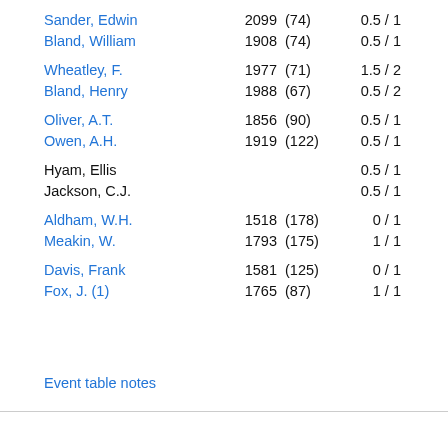| Name | Rating | (Byk) | Score |
| --- | --- | --- | --- |
| Sander, Edwin | 2099 | (74) | 0.5 / 1 |
| Bland, William | 1908 | (74) | 0.5 / 1 |
| Wheatley, F. | 1977 | (71) | 1.5 / 2 |
| Bland, Henry | 1988 | (67) | 0.5 / 2 |
| Oliver, A.T. | 1856 | (90) | 0.5 / 1 |
| Owen, A.H. | 1919 | (122) | 0.5 / 1 |
| Hyam, Ellis |  |  | 0.5 / 1 |
| Jackson, C.J. |  |  | 0.5 / 1 |
| Aldham, W.H. | 1518 | (178) | 0 / 1 |
| Meakin, W. | 1793 | (175) | 1 / 1 |
| Davis, Frank | 1581 | (125) | 0 / 1 |
| Fox, J. (1) | 1765 | (87) | 1 / 1 |
Event table notes